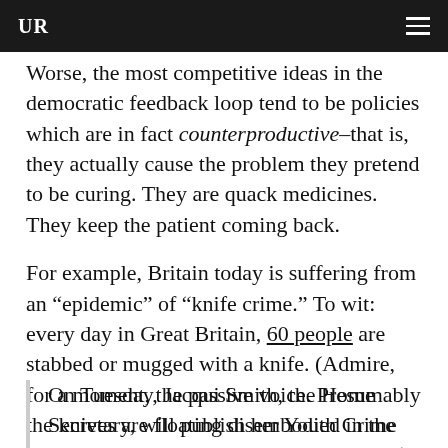UR
Worse, the most competitive ideas in the democratic feedback loop tend to be policies which are in fact counterproductive–that is, they actually cause the problem they pretend to be curing. They are quack medicines. They keep the patient coming back.
For example, Britain today is suffering from an “epidemic” of “knife crime.” To wit: every day in Great Britain, 60 people are stabbed or mugged with a knife. (Admire, for a moment, the passive voice. Presumably the knives are floating disembodied in the air, directing themselves with Jedi powers.) The solution:
On Tuesday, Jacqui Smith, the Home Secretary, will publish her Youth Crime